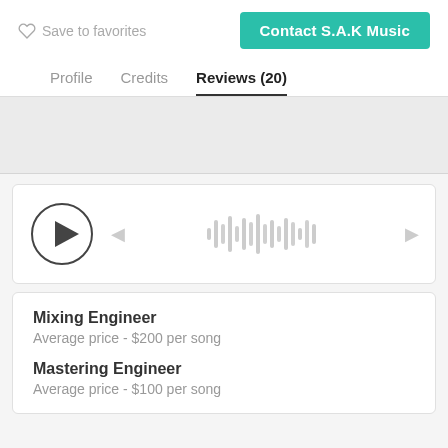Save to favorites
Contact S.A.K Music
Profile  Credits  Reviews (20)
[Figure (screenshot): Audio player with play button circle and waveform visualization, with previous and next navigation arrows]
Mixing Engineer
Average price - $200 per song
Mastering Engineer
Average price - $100 per song